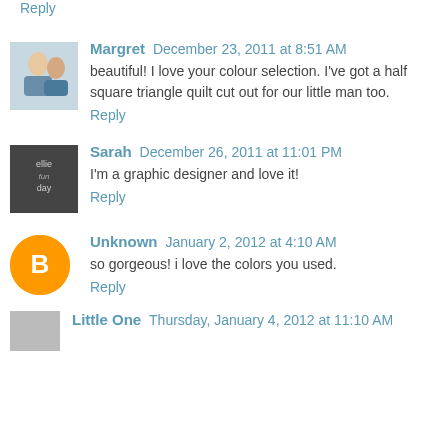Reply
Margret  December 23, 2011 at 8:51 AM
beautiful! I love your colour selection. I've got a half square triangle quilt cut out for our little man too.
Reply
Sarah  December 26, 2011 at 11:01 PM
I'm a graphic designer and love it!
Reply
Unknown  January 2, 2012 at 4:10 AM
so gorgeous! i love the colors you used.
Reply
Little One  Thursday, January 4, 2012 at 11:10 AM